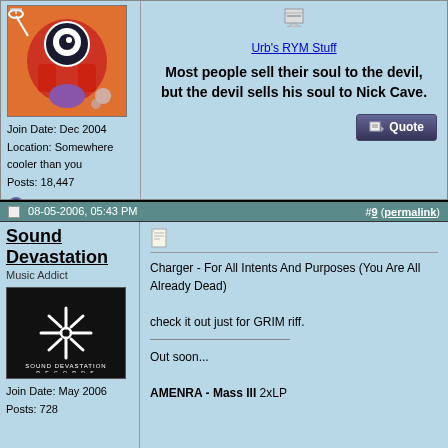[Figure (photo): Colorful cartoon-style illustration of a character holding a martini glass, with big eye and red clothing, orange/red background]
Join Date: Dec 2004
Location: Somewhere cooler than you
Posts: 18,447
Urb's RYM Stuff
Most people sell their soul to the devil, but the devil sells his soul to Nick Cave.
08-05-2006, 05:43 PM
#9 (permalink)
Sound Devastation
Music Addict
[Figure (logo): Sound Devastation Records logo - white starburst/asterisk design on black background with text SOUND DEVASTATION RECORDS]
Join Date: May 2006
Posts: 728
Charger - For All Intents And Purposes (You Are All Already Dead)

check it out just for GRIM riff.

Out soon...

AMENRA - Mass III 2xLP